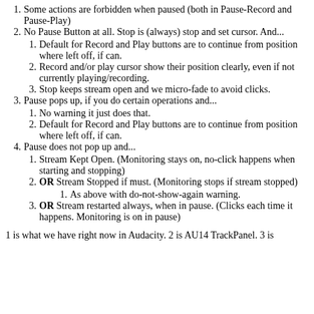1. Some actions are forbidden when paused (both in Pause-Record and Pause-Play)
2. No Pause Button at all. Stop is (always) stop and set cursor. And... 1. Default for Record and Play buttons are to continue from position where left off, if can. 2. Record and/or play cursor show their position clearly, even if not currently playing/recording. 3. Stop keeps stream open and we micro-fade to avoid clicks.
3. Pause pops up, if you do certain operations and... 1. No warning it just does that. 2. Default for Record and Play buttons are to continue from position where left off, if can.
4. Pause does not pop up and... 1. Stream Kept Open. (Monitoring stays on, no-click happens when starting and stopping) 2. OR Stream Stopped if must. (Monitoring stops if stream stopped) 1. As above with do-not-show-again warning. 3. OR Stream restarted always, when in pause. (Clicks each time it happens. Monitoring is on in pause)
1 is what we have right now in Audacity. 2 is AU14 TrackPanel. 3 is